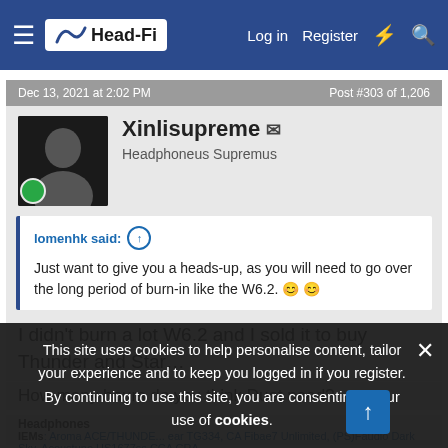Head-Fi | Log in | Register
Dec 13, 2021 at 2:02 PM | Post #303 of 1,206
Xinlisupreme
Headphoneus Supremus
lomenhk said:
Just want to give you a heads-up, as you will need to go over the long period of burn-in like the W6.2. 😊 😊
I didn't burn a lot W6.2 and I sold it to buy Thunder and Star…
How many hours do you think Duet need?
Headphones
IEMs: Aroma ACE/THUNDER, Fearless TG334, CA Fibae7 Unlimited, (PS)Faudio Dark Sky, Acoustune HS1677ss, CCA CRA, Musc Faris
This site uses cookies to help personalise content, tailor your experience and to keep you logged in if you register.
By continuing to use this site, you are consenting to our use of cookies.